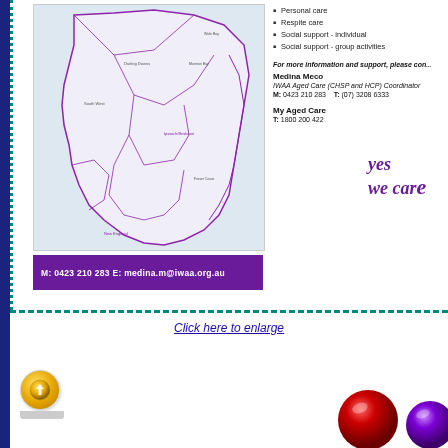[Figure (map): Map of Queensland regions showing service area boundaries in purple/pink on light background]
M: 0423 210 283  E: medina.m@iwaa.org.au
Personal care
Respite care
Social support - individual
Social support - group activities
For more information and support, please contact:
Medina Meco
IWAA Aged Care (CHSP and HCP) Coordinator
M: 0423 210 283  T: (07) 3208 6333
My Aged Care
T: 1800 200 422
[Figure (illustration): Yes we care logo in purple italic script]
Click here to enlarge
[Figure (illustration): Yellow upload/publish icon with grey tab base]
[Figure (illustration): Red glossy ball/button]
[Figure (illustration): Purple glossy ball/button (partially visible)]